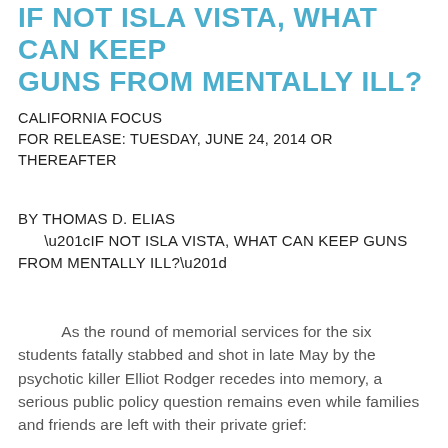IF NOT ISLA VISTA, WHAT CAN KEEP GUNS FROM MENTALLY ILL?
CALIFORNIA FOCUS
FOR RELEASE: TUESDAY, JUNE 24, 2014 OR THEREAFTER
BY THOMAS D. ELIAS
“IF NOT ISLA VISTA, WHAT CAN KEEP GUNS FROM MENTALLY ILL?”
As the round of memorial services for the six students fatally stabbed and shot in late May by the psychotic killer Elliot Rodger recedes into memory, a serious public policy question remains even while families and friends are left with their private grief: